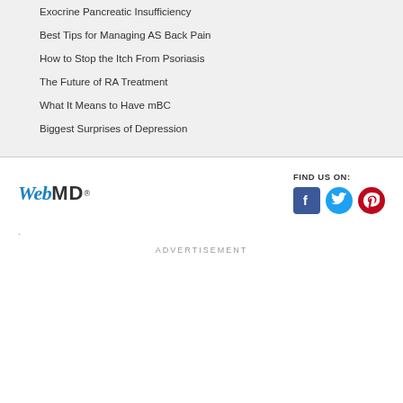Exocrine Pancreatic Insufficiency
Best Tips for Managing AS Back Pain
How to Stop the Itch From Psoriasis
The Future of RA Treatment
What It Means to Have mBC
Biggest Surprises of Depression
[Figure (logo): WebMD logo in blue and grey]
FIND US ON:
[Figure (infographic): Social media icons: Facebook, Twitter, Pinterest]
.
ADVERTISEMENT